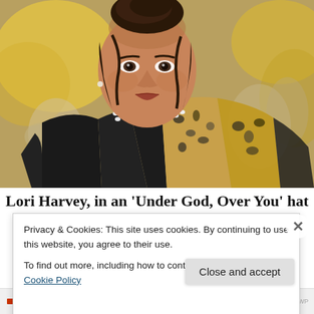[Figure (photo): Portrait photo of Lori Harvey, a young woman with dark hair in an updo, wearing a black blazer with leopard print trim and a pearl necklace, photographed outdoors with blurred yellow foliage in the background.]
Lori Harvey, in an 'Under God, Over You' hat
Privacy & Cookies: This site uses cookies. By continuing to use this website, you agree to their use.
To find out more, including how to control cookies, see here: Cookie Policy
Close and accept